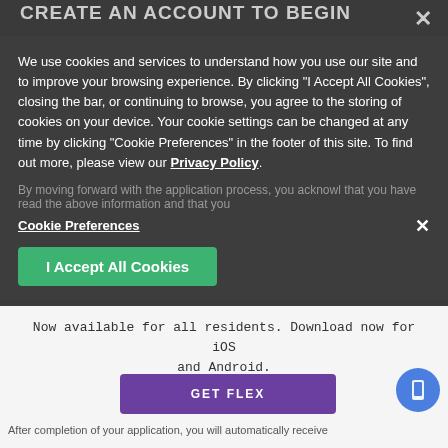CREATE AN ACCOUNT TO BEGIN
Please note that this requires monthly payment of 3 months application and a qualification. We require you to access this pay stubs for the income verification of our details apply tabs to the application.
We use cookies and services to understand how you use our site and to improve your browsing experience. By clicking "I Accept All Cookies", closing the bar, or continuing to browse, you agree to the storing of cookies on your device. Your cookie settings can be changed at any time by clicking "Cookie Preferences" in the footer of this site. To find out more, please view our Privacy Policy.
By moving forward with the application process, you acknowledge that you have read the above information and that you
Cookie Preferences
I Accept All Cookies
Split your payments into smaller, stress-free payments with Flex
Now available for all residents. Download now for iOS and Android.
GET FLEX
After completion of your application, you will automatically receive